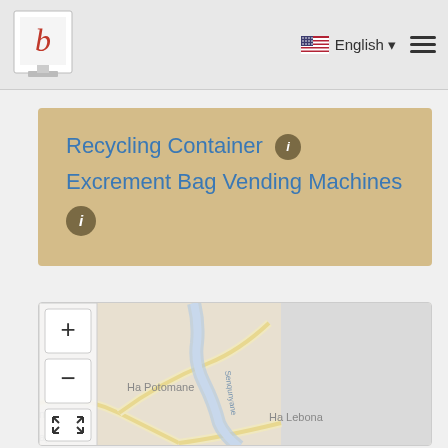b [logo] | English ☰
Recycling Container ℹ Excrement Bag Vending Machines ℹ
[Figure (map): Street map showing Ha Potomane, Ha Lebona, and surrounding roads with a river (Senqunyane) running through. Zoom controls (+, -, fullscreen) visible on left side.]